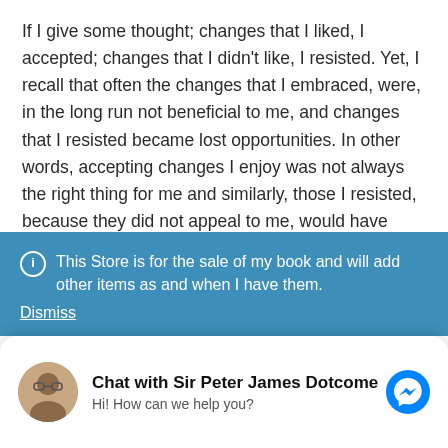If I give some thought; changes that I liked, I accepted; changes that I didn't like, I resisted. Yet, I recall that often the changes that I embraced, were, in the long run not beneficial to me, and changes that I resisted became lost opportunities. In other words, accepting changes I enjoy was not always the right thing for me and similarly, those I resisted, because they did not appeal to me, would have been the better option.

What I discovered over the years was this; I am not always the best judge of what changes are good and bad
This Store is for the sale of my book and will add other items as and when I have them.
Dismiss
Chat with Sir Peter James Dotcome
Hi! How can we help you?